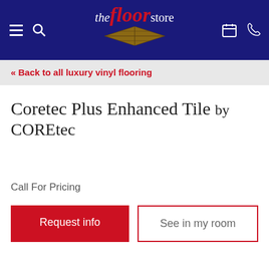[Figure (logo): The Floor Store logo on dark navy blue header with hamburger menu, search icon, calendar icon, and phone icon]
« Back to all luxury vinyl flooring
Coretec Plus Enhanced Tile by COREtec
Call For Pricing
Request info
See in my room